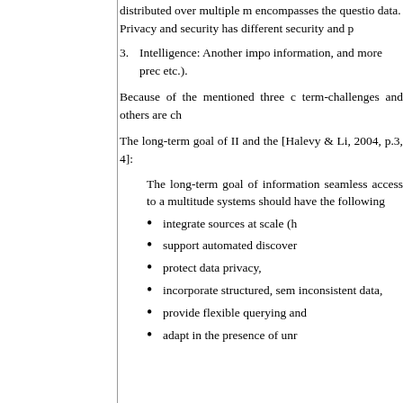distributed over multiple m encompasses the question data. Privacy and security has different security and p
3. Intelligence: Another impo information, and more prec etc.).
Because of the mentioned three c term-challenges and others are ch
The long-term goal of II and the [Halevy & Li, 2004, p.3, 4]:
The long-term goal of information seamless access to a multitude systems should have the following
integrate sources at scale (h
support automated discover
protect data privacy,
incorporate structured, sem inconsistent data,
provide flexible querying and
adapt in the presence of unr